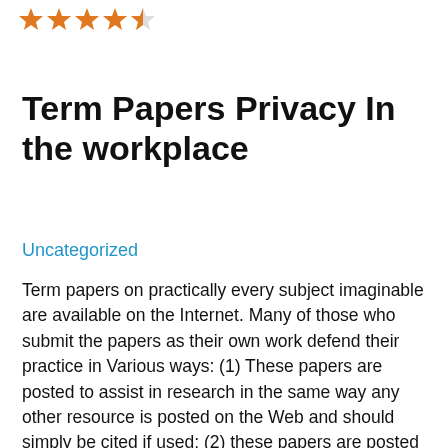[Figure (other): Five orange star rating icons at the top left, with the fifth star partially filled]
Term Papers Privacy In the workplace
Uncategorized
Term papers on practically every subject imaginable are available on the Internet. Many of those who submit the papers as their own work defend their practice in Various ways: (1) These papers are posted to assist in research in the same way any other resource is posted on the Web and should simply be cited if used; (2) these papers are posted in order to encourage faculty to modify paper topics and/or exams and not to simply bring back assignments that have been used countless times in the past, (3) they don t have time to complete a paper and since they have